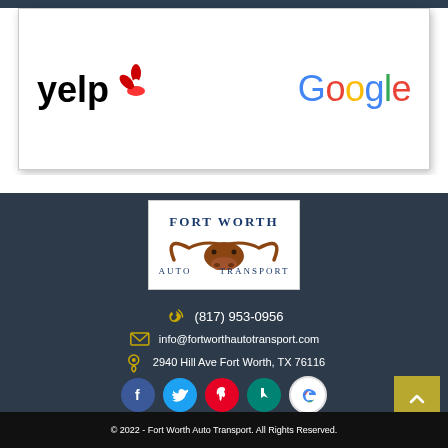[Figure (logo): Yelp logo and Google logo side by side in a white box]
[Figure (logo): Fort Worth Auto Transport logo with longhorn bull]
(817) 953-0956
info@fortworthautotransport.com
2940 Hill Ave Fort Worth, TX 76116
[Figure (illustration): Social media icons: Facebook, Twitter, Pinterest, Bing, Google]
© 2022 - Fort Worth Auto Transport. All Rights Reserved.